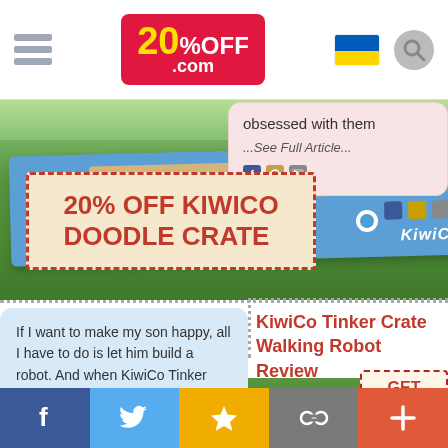20%OFF.com header with hamburger menu, logo, flag, search icon
[Figure (photo): KiwiCo Doodle Crate blue box on grass with 20% OFF KIWICO DOODLE CRATE coupon overlay and article preview bubble showing 'obsessed with them ...See Full Article...']
obsessed with them
...See Full Article...
20% OFF KIWICO DOODLE CRATE
If I want to make my son happy, all I have to do is let him build a robot. And when KiwiCo Tinker
...Read More...
KiwiCo Tinker Crate Walking Robot Review
[Figure (photo): KiwiCo Tinker Crate Walking Robot brown box on grass with GET 20% OFF NOW coupon overlay]
GET 20% OFF NOW
Social share buttons: Facebook, Twitter, Star/Favorite, Link, Plus